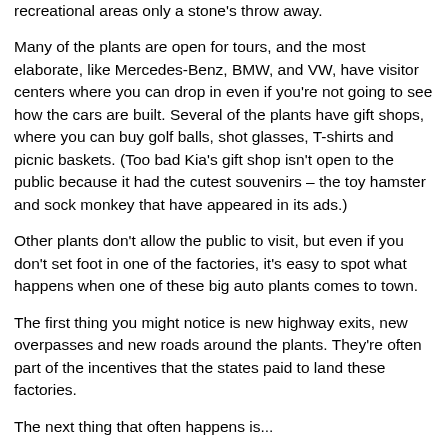recreational areas only a stone's throw away.
Many of the plants are open for tours, and the most elaborate, like Mercedes-Benz, BMW, and VW, have visitor centers where you can drop in even if you're not going to see how the cars are built. Several of the plants have gift shops, where you can buy golf balls, shot glasses, T-shirts and picnic baskets. (Too bad Kia's gift shop isn't open to the public because it had the cutest souvenirs – the toy hamster and sock monkey that have appeared in its ads.)
Other plants don't allow the public to visit, but even if you don't set foot in one of the factories, it's easy to spot what happens when one of these big auto plants comes to town.
The first thing you might notice is new highway exits, new overpasses and new roads around the plants. They're often part of the incentives that the states paid to land these factories.
The next thing that often happens is...